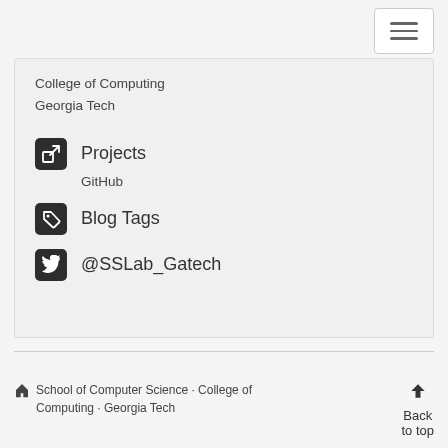College of Computing
Georgia Tech
Projects
GitHub
Blog Tags
@SSLab_Gatech
School of Computer Science · College of Computing · Georgia Tech   Back to top